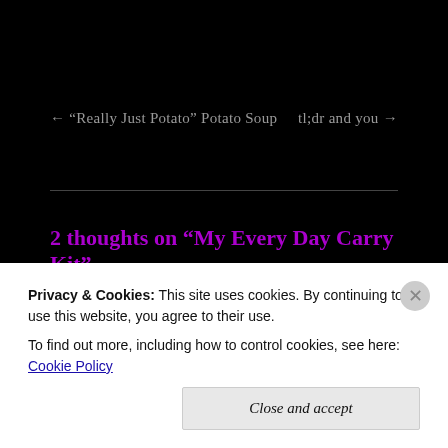← “Really Just Potato” Potato Soup
tl;dr and you →
2 thoughts on “My Every Day Carry Kit”
Pingback: Quality | bluedeckshoe.com
Privacy & Cookies: This site uses cookies. By continuing to use this website, you agree to their use.
To find out more, including how to control cookies, see here: Cookie Policy
Close and accept